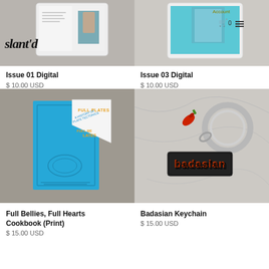[Figure (photo): Product photo of Issue 01 Digital magazine on tablet, marble background, with slant'd logo overlay]
Issue 01 Digital
$ 10.00 USD
[Figure (photo): Product photo of Issue 03 Digital magazine on tablet, marble background, with navigation bar showing Account, cart icon, 0, hamburger menu]
Issue 03 Digital
$ 10.00 USD
[Figure (photo): Product photo of Full Bellies, Full Hearts Cookbook (Print) blue book with peeling sticker on wooden surface]
Full Bellies, Full Hearts Cookbook (Print)
$ 15.00 USD
[Figure (photo): Product photo of Badasian Keychain with red chili pepper and metal keyring on marble surface]
Badasian Keychain
$ 15.00 USD